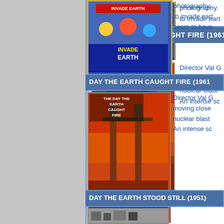[Figure (illustration): Partial view of a movie poster with gold border, colorful sci-fi imagery (Invade Earth movie poster)]
photography. to invade eart seem to have
DAY THE EARTH CAUGHT FIRE (1961)
[Figure (illustration): Movie poster for 'The Day The Earth Caught Fire' showing Tower Bridge with fiery apocalyptic scene]
Director Val G moving close nuclear blast An intense sc
DAY THE EARTH STOOD STILL (1951)
[Figure (illustration): Partial view of movie poster for The Day The Earth Stood Still (1951)]